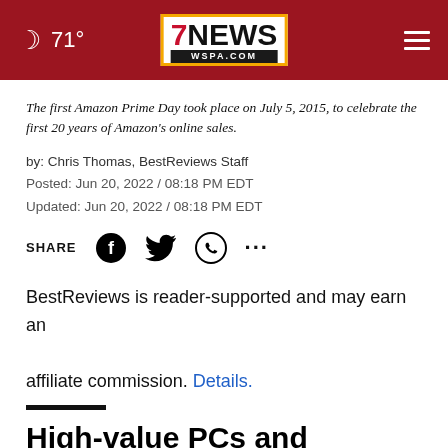71° | 7NEWS WSPA.COM
The first Amazon Prime Day took place on July 5, 2015, to celebrate the first 20 years of Amazon's online sales.
by: Chris Thomas, BestReviews Staff
Posted: Jun 20, 2022 / 08:18 PM EDT
Updated: Jun 20, 2022 / 08:18 PM EDT
SHARE [Facebook] [Twitter] [WhatsApp] [...]
BestReviews is reader-supported and may earn an affiliate commission. Details.
High-value PCs and components at good prices